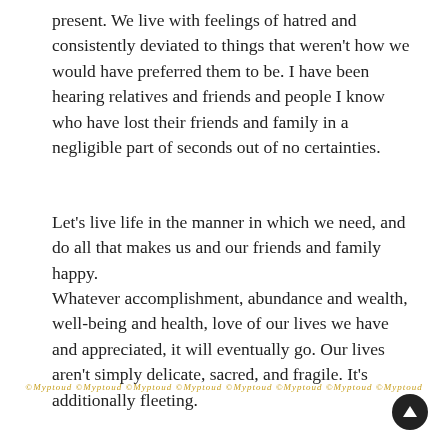present. We live with feelings of hatred and consistently deviated to things that weren't how we would have preferred them to be. I have been hearing relatives and friends and people I know who have lost their friends and family in a negligible part of seconds out of no certainties.
Let's live life in the manner in which we need, and do all that makes us and our friends and family happy.
Whatever accomplishment, abundance and wealth, well-being and health, love of our lives we have and appreciated, it will eventually go. Our lives aren't simply delicate, sacred, and fragile. It's additionally fleeting.
©Myptoud ©Myptoud ©Myptoud ©Myptoud ©Myptoud ©Myptoud ©Myptoud ©Myptoud